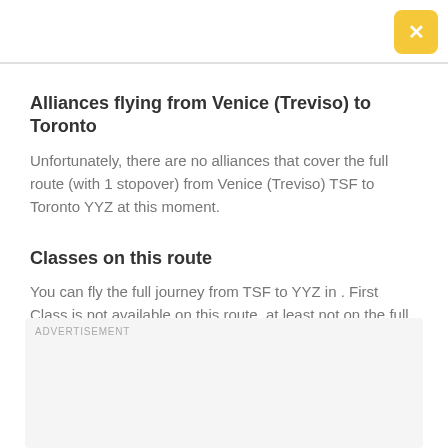Alliances flying from Venice (Treviso) to Toronto
Unfortunately, there are no alliances that cover the full route (with 1 stopover) from Venice (Treviso) TSF to Toronto YYZ at this moment.
Classes on this route
You can fly the full journey from TSF to YYZ in . First Class is not available on this route, at least not on the full route with just 1 stopover.
ADVERTISEMENT